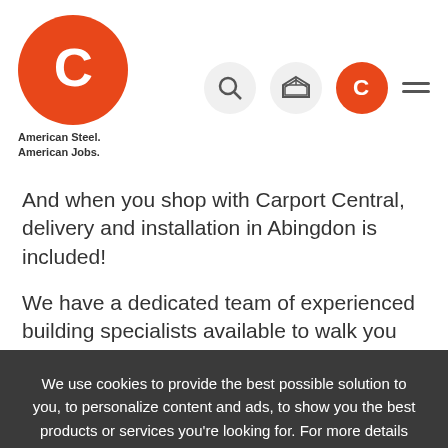[Figure (logo): Carport Central logo - orange circle with white C letter, tagline American Steel. American Jobs.]
And when you shop with Carport Central, delivery and installation in Abingdon is included!
We have a dedicated team of experienced building specialists available to walk you through every step. Carport Central is the top volume online carport dealer in America, but we didn't reach this level of business by
We use cookies to provide the best possible solution to you, to personalize content and ads, to show you the best products or services you're looking for. For more details visit Privacy Policy.
OK, THANKS
Carport Central offers a vast range of metal carports and
(980) 217-0441